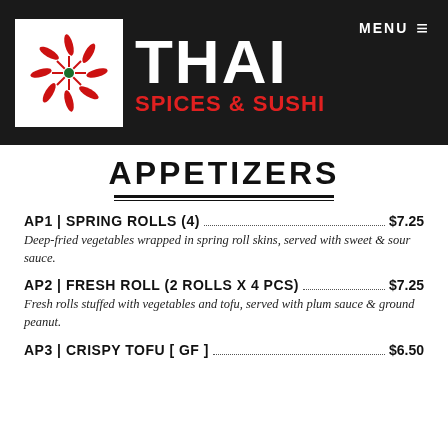[Figure (logo): Thai Spices & Sushi restaurant logo: white box with red chili pepper pinwheel design, large white THAI text, red SPICES & SUSHI subtitle on dark background, MENU hamburger nav top right]
APPETIZERS
AP1 | SPRING ROLLS (4) $7.25 — Deep-fried vegetables wrapped in spring roll skins, served with sweet & sour sauce.
AP2 | FRESH ROLL (2 ROLLS X 4 PCS) $7.25 — Fresh rolls stuffed with vegetables and tofu, served with plum sauce & ground peanut.
AP3 | CRISPY TOFU [ GF ] $6.50